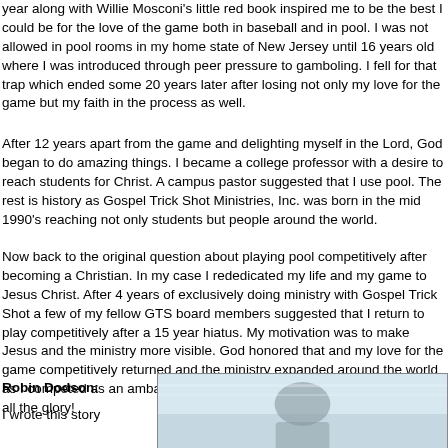year along with Willie Mosconi's little red book inspired me to be the best I could be for the love of the game both in baseball and in pool. I was not allowed in pool rooms in my home state of New Jersey until 16 years old where I was introduced through peer pressure to gamboling. I fell for that trap which ended some 20 years later after losing not only my love for the game but my faith in the process as well.
After 12 years apart from the game and delighting myself in the Lord, God began to do amazing things. I became a college professor with a desire to reach students for Christ. A campus pastor suggested that I use pool. The rest is history as Gospel Trick Shot Ministries, Inc. was born in the mid 1990's reaching not only students but people around the world.
Now back to the original question about playing pool competitively after becoming a Christian. In my case I rededicated my life and my game to Jesus Christ. After 4 years of exclusively doing ministry with Gospel Trick Shot a few of my fellow GTS board members suggested that I return to play competitively after a 15 year hiatus. My motivation was to make Jesus and the ministry more visible. God honored that and my love for the game competitively returned and the ministry expanded around the world as I competed as an ambassador for the Kingdom of Heaven. To God be all the glory!
Robin Dodson:
I wrote this story
[Figure (photo): A photo of a person, partially visible, appears to show someone in an indoor setting with light-colored walls.]